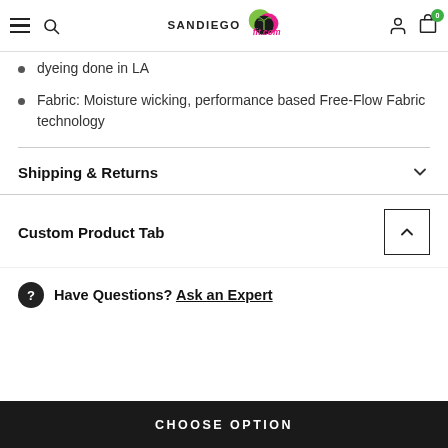SanDiego fit.com — navigation header with hamburger, search, logo, user, cart (0)
dyeing done in LA
Fabric: Moisture wicking, performance based Free-Flow Fabric technology
Shipping & Returns
Custom Product Tab
Have Questions? Ask an Expert
CHOOSE OPTION